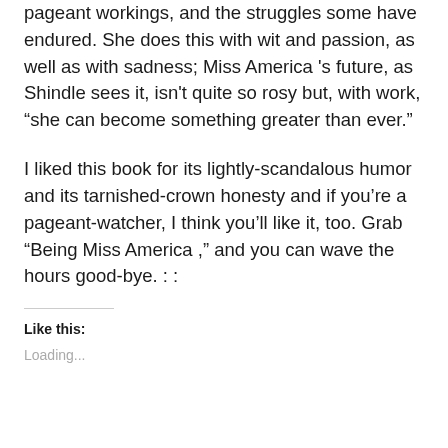pageant workings, and the struggles some have endured. She does this with wit and passion, as well as with sadness; Miss America 's future, as Shindle sees it, isn't quite so rosy but, with work, "she can become something greater than ever."
I liked this book for its lightly-scandalous humor and its tarnished-crown honesty and if you're a pageant-watcher, I think you'll like it, too. Grab "Being Miss America ," and you can wave the hours good-bye. : :
Like this:
Loading...